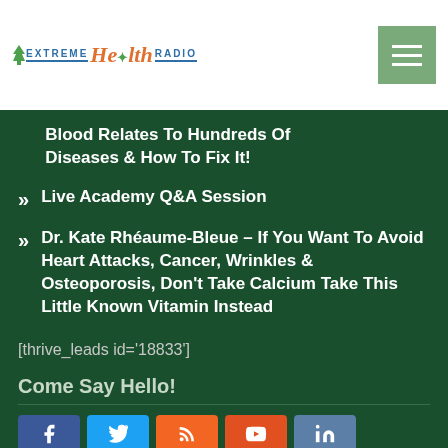Extreme Health Radio
Blood Relates To Hundreds Of Diseases & How To Fix It!
Live Academy Q&A Session
Dr. Kate Rhéaume-Bleue – If You Want To Avoid Heart Attacks, Cancer, Wrinkles & Osteoporosis, Don't Take Calcium Take This Little Known Vitamin Instead
[thrive_leads id='18833']
Come Say Hello!
[Figure (other): Social media icon buttons: Facebook (blue), Twitter (light blue), RSS/feed (orange), YouTube (red-orange), and one more (blue-grey)]